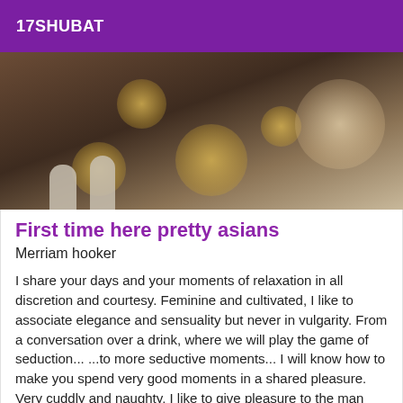17SHUBAT
[Figure (photo): Close-up photo with dark background and golden bokeh circles, partial view of fingers]
First time here pretty asians
Merriam hooker
I share your days and your moments of relaxation in all discretion and courtesy. Feminine and cultivated, I like to associate elegance and sensuality but never in vulgarity. From a conversation over a drink, where we will play the game of seduction... ...to more seductive moments... I will know how to make you spend very good moments in a shared pleasure. Very cuddly and naughty, I like to give pleasure to the man that I accompany in a torrid romatic. Come to court me